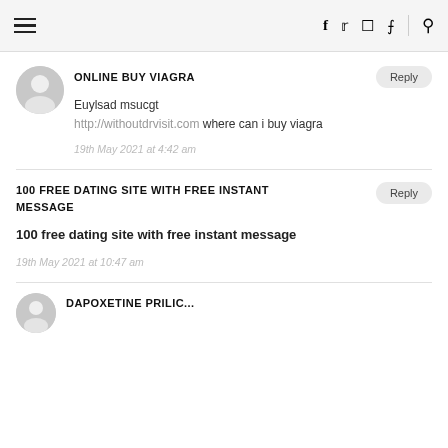Navigation bar with hamburger menu, social icons (f, twitter, instagram, pinterest), and search icon
ONLINE BUY VIAGRA
Euylsad msucgt
http://withoutdrvisit.com where can i buy viagra
19th May 2021 at 4:42 am
100 FREE DATING SITE WITH FREE INSTANT MESSAGE
100 free dating site with free instant message
19th May 2021 at 10:47 am
DAPOXETINE PRILIC...